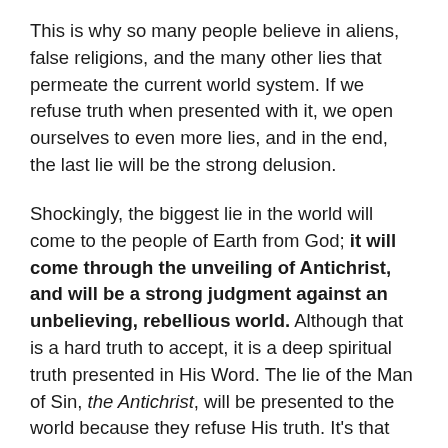This is why so many people believe in aliens, false religions, and the many other lies that permeate the current world system. If we refuse truth when presented with it, we open ourselves to even more lies, and in the end, the last lie will be the strong delusion.
Shockingly, the biggest lie in the world will come to the people of Earth from God; it will come through the unveiling of Antichrist, and will be a strong judgment against an unbelieving, rebellious world. Although that is a hard truth to accept, it is a deep spiritual truth presented in His Word. The lie of the Man of Sin, the Antichrist, will be presented to the world because they refuse His truth. It's that simple.
Once the restraining power of the Holy Spirit is removed the revelation of Antichrist will come...